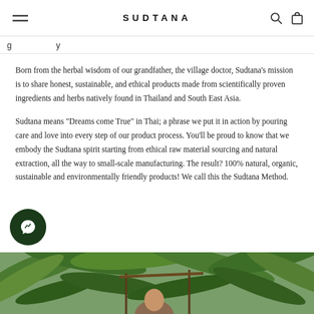SUDTANA
Born from the herbal wisdom of our grandfather, the village doctor, Sudtana's mission is to share honest, sustainable, and ethical products made from scientifically proven ingredients and herbs natively found in Thailand and South East Asia.
Sudtana means "Dreams come True" in Thai; a phrase we put it in action by pouring care and love into every step of our product process. You'll be proud to know that we embody the Sudtana spirit starting from ethical raw material sourcing and natural extraction, all the way to small-scale manufacturing. The result? 100% natural, organic, sustainable and environmentally friendly products! We call this the Sudtana Method.
[Figure (photo): Photo of a person surrounded by tropical palm trees, partially visible at the bottom of the page.]